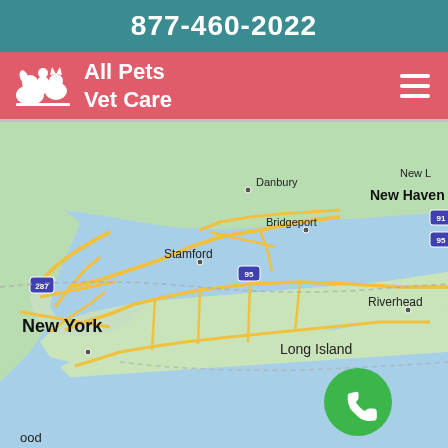877-460-2022
All Pets Vet Care
[Figure (map): Google Maps screenshot showing New York City, Long Island, New Haven, Bridgeport, Stamford, Danbury, Riverhead area with road network overlay. A green phone call button is visible in the lower right area of the map.]